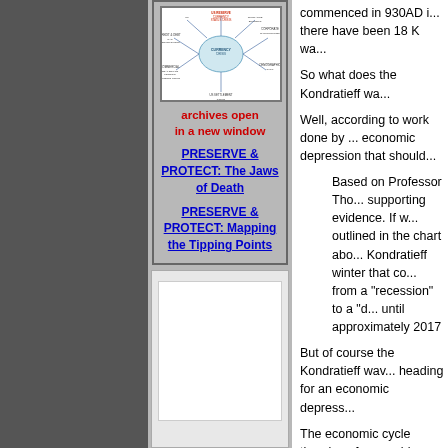[Figure (schematic): Kondratieff wave / economic cycle diagram showing interconnected arrows and labels including US Reserve Currency Status Crisis, Credit & Debt Car Destructions, Commercial Real Estate Pension Funding Crisis, US Settlement Crisis, Corporate Bankruptcies, Demographic Shift, Insurance Business]
archives open
in a new window
PRESERVE & PROTECT: The Jaws of Death
PRESERVE & PROTECT: Mapping the Tipping Points
[Figure (other): White/blank rectangular box in sidebar bottom area]
commenced in 930AD i... there have been 18 K wa...
So what does the Kondratieff wa...
Well, according to work done by ... economic depression that should...
Based on Professor Tho... supporting evidence. If w... outlined in the chart abo... Kondratieff winter that co... from a "recession" to a "d... until approximately 2017
But of course the Kondratieff wav... heading for an economic depress...
The economic cycle theories of a... problems. He mainly focuses on... major issue for him. The followin... points that Dent makes in his new...
Young people cause infl... eventually "begin to pay... (supply) and higher-spen...
Unfortunately, the U.S. r... the "demographic cliff." O... the first emerging marke...